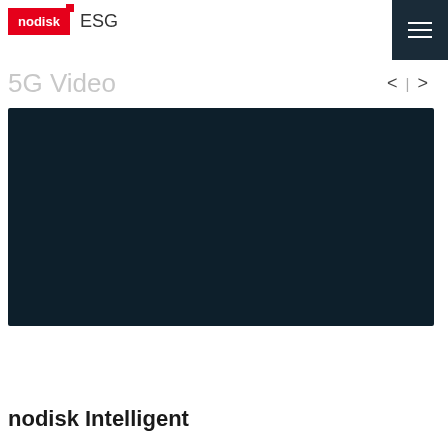nodisk ESG
5G Video
[Figure (screenshot): Dark navy video player placeholder area]
nodisk Intelligent